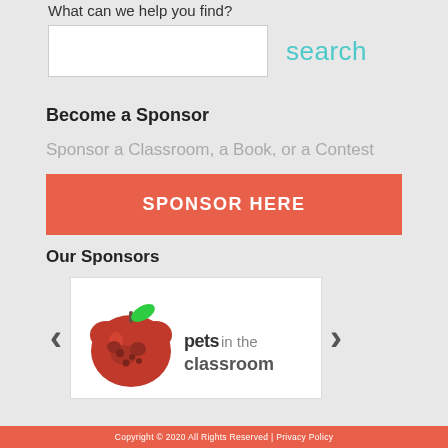What can we help you find?
search
Become a Sponsor
Sponsor a Classroom, a Book, or a Contest
SPONSOR HERE
Our Sponsors
[Figure (logo): Pets in the Classroom logo: red apple with green leaf and animals inside, with text 'pets in the classroom']
Copyright © 2020 All Rights Reserved | Privacy Policy